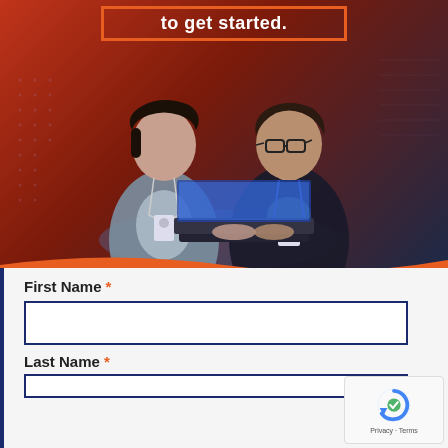to get started.
[Figure (photo): Two professionals wearing lanyards looking at a laptop screen together, set against a dark red/blue gradient background with a data center aesthetic]
First Name *
Last Name *